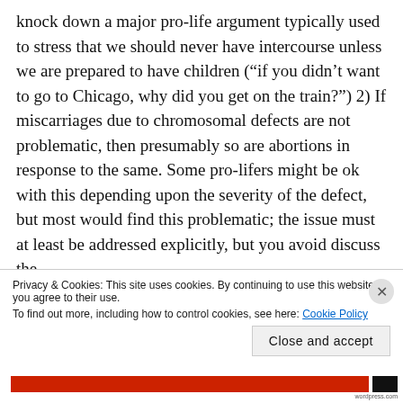knock down a major pro-life argument typically used to stress that we should never have intercourse unless we are prepared to have children (“if you didn’t want to go to Chicago, why did you get on the train?”) 2) If miscarriages due to chromosomal defects are not problematic, then presumably so are abortions in response to the same. Some pro-lifers might be ok with this depending upon the severity of the defect, but most would find this problematic; the issue must at least be addressed explicitly, but you avoid discuss the
Privacy & Cookies: This site uses cookies. By continuing to use this website, you agree to their use.
To find out more, including how to control cookies, see here: Cookie Policy
Close and accept